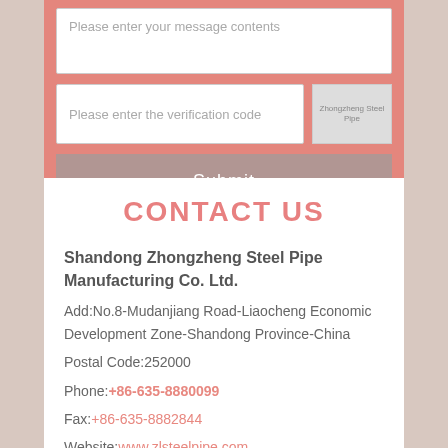Please enter your message contents
Please enter the verification code
[Figure (other): CAPTCHA verification image placeholder showing Zhongzheng Steel Pipe logo/image]
Submit
CONTACT US
Shandong Zhongzheng Steel Pipe Manufacturing Co. Ltd.
Add:No.8-Mudanjiang Road-Liaocheng Economic Development Zone-Shandong Province-China
Postal Code:252000
Phone:+86-635-8880099
Fax:+86-635-8882844
Website:www.zlsteelpipe.com